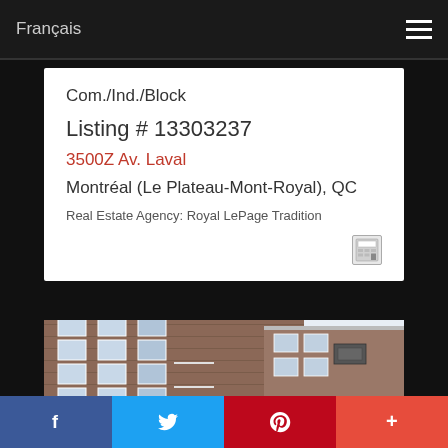Français
Com./Ind./Block
Listing # 13303237
3500Z Av. Laval
Montréal (Le Plateau-Mont-Royal), QC
Real Estate Agency: Royal LePage Tradition
[Figure (photo): Exterior photo of a multi-storey brick apartment building with balconies and windows]
f   t   P   +